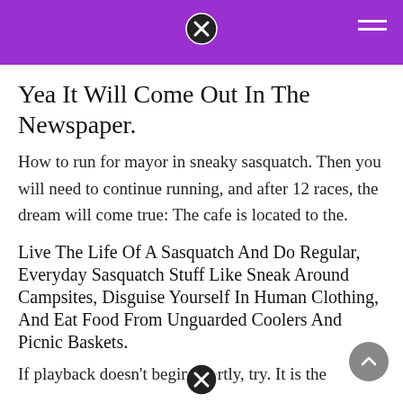Yea It Will Come Out In The Newspaper.
How to run for mayor in sneaky sasquatch. Then you will need to continue running, and after 12 races, the dream will come true: The cafe is located to the.
Live The Life Of A Sasquatch And Do Regular, Everyday Sasquatch Stuff Like Sneak Around Campsites, Disguise Yourself In Human Clothing, And Eat Food From Unguarded Coolers And Picnic Baskets.
If playback doesn't begin shortly, try. It is the